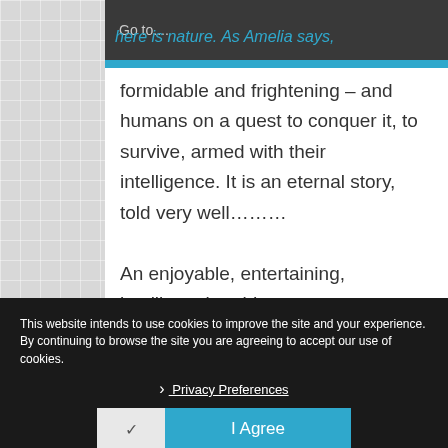[Figure (screenshot): Website navigation dropdown bar with 'Go to...' text and dropdown arrow, overlaid on a webpage]
here is nature. As Amelia says,
formidable and frightening – and humans on a quest to conquer it, to survive, armed with their intelligence. It is an eternal story, told very well………
An enjoyable, entertaining, intelligent joy-ride……..
This website intends to use cookies to improve the site and your experience. By continuing to browse the site you are agreeing to accept our use of cookies.
› Privacy Preferences
✓  I Agree